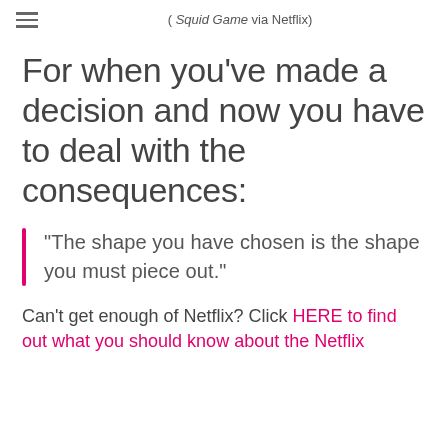( Squid Game via Netflix)
For when you've made a decision and now you have to deal with the consequences:
"The shape you have chosen is the shape you must piece out."
Can't get enough of Netflix? Click HERE to find out what you should know about the Netflix